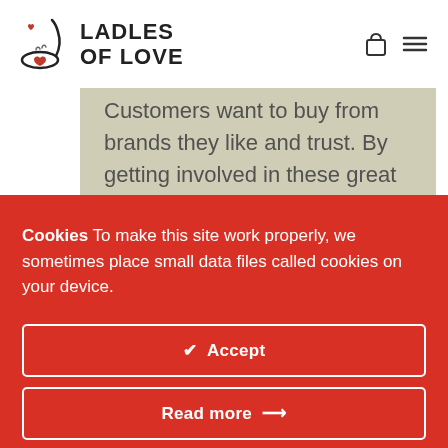[Figure (logo): Ladles of Love logo: ladle with heart and steam, stylized text LADLES OF LOVE]
Customers want to buy from brands they like and trust. By getting involved in these great initiatives
Cookies To make this site work properly, we sometimes place small data files called cookies on your device.
✓ Accept
Read more →
Change Settings ⚙